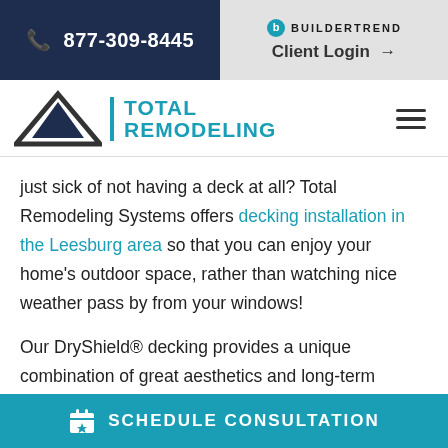877-309-8445 | BUILDERTREND | Client Login →
[Figure (logo): Total Remodeling logo with triangle/mountain icon and teal text reading TOTAL REMODELING]
just sick of not having a deck at all? Total Remodeling Systems offers decking installation in the Leesburg area so that you can enjoy your home's outdoor space, rather than watching nice weather pass by from your windows!
Our DryShield® decking provides a unique combination of great aesthetics and long-term durability. These premium composite decks are
SCHEDULE CONSULTATION